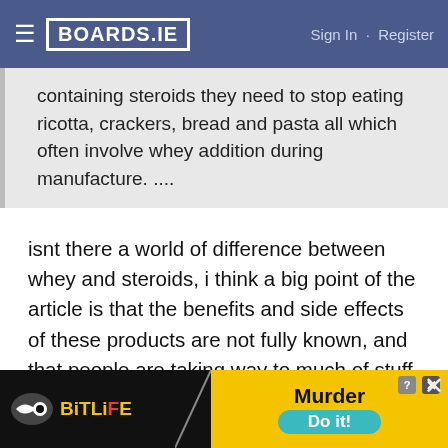BOARDS.IE   Sign In · Register
containing steroids they need to stop eating ricotta, crackers, bread and pasta all which often involve whey addition during manufacture. ....
isnt there a world of difference between whey and steroids, i think a big point of the article is that the benefits and side effects of these products are not fully known, and that people are taking way to much of stuff that they dont understand instead of taking it in moderation
Malteaser!
[Figure (screenshot): BitLife advertisement banner with Murder Do it! text]